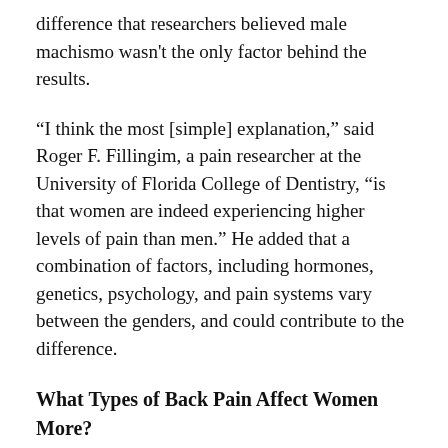difference that researchers believed male machismo wasn't the only factor behind the results.
“I think the most [simple] explanation,” said Roger F. Fillingim, a pain researcher at the University of Florida College of Dentistry, “is that women are indeed experiencing higher levels of pain than men.” He added that a combination of factors, including hormones, genetics, psychology, and pain systems vary between the genders, and could contribute to the difference.
What Types of Back Pain Affect Women More?
Gender differences show up not only in intensity and frequency of pain, but in what causes it. The following types of back pain, for example, are more typically experienced by women: